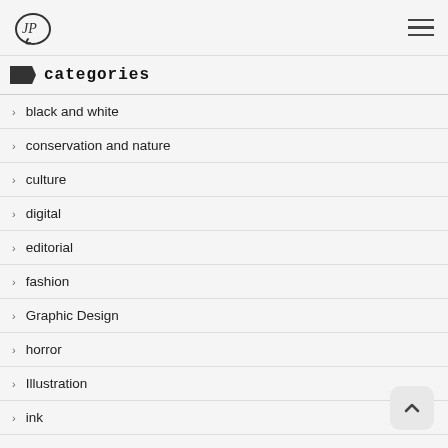JP logo and hamburger menu
Categories
black and white
conservation and nature
culture
digital
editorial
fashion
Graphic Design
horror
Illustration
ink
maps
music
prehistoric life
products